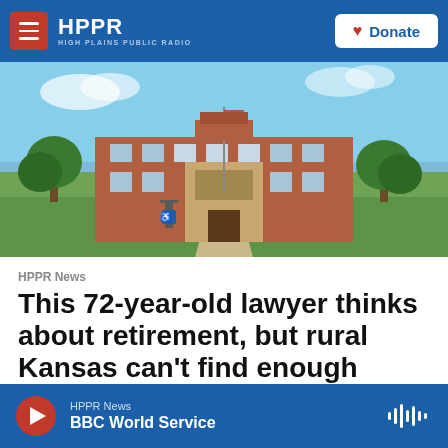HPPR HIGH PLAINS PUBLIC RADIO — Donate
[Figure (photo): Exterior photo of a red brick building (courthouse or school) with a central entrance, flagpole, and surrounding green lawn and trees under a blue sky.]
HPPR News
This 72-year-old lawyer thinks about retirement, but rural Kansas can't find enough attorneys
HPPR News — BBC World Service